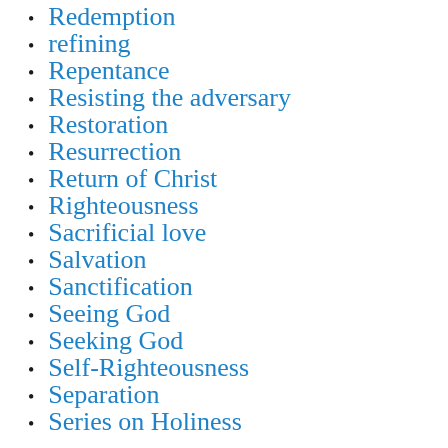Redemption
refining
Repentance
Resisting the adversary
Restoration
Resurrection
Return of Christ
Righteousness
Sacrificial love
Salvation
Sanctification
Seeing God
Seeking God
Self-Righteousness
Separation
Series on Holiness